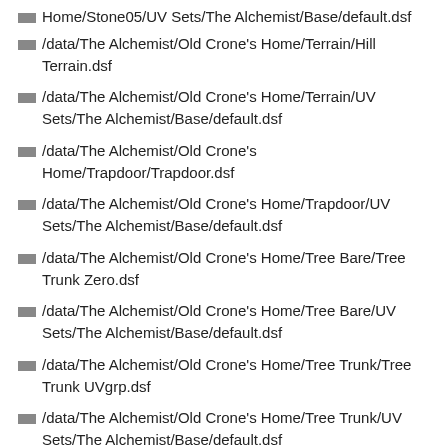Home/Stone05/UV Sets/The Alchemist/Base/default.dsf
/data/The Alchemist/Old Crone's Home/Terrain/Hill Terrain.dsf
/data/The Alchemist/Old Crone's Home/Terrain/UV Sets/The Alchemist/Base/default.dsf
/data/The Alchemist/Old Crone's Home/Trapdoor/Trapdoor.dsf
/data/The Alchemist/Old Crone's Home/Trapdoor/UV Sets/The Alchemist/Base/default.dsf
/data/The Alchemist/Old Crone's Home/Tree Bare/Tree Trunk Zero.dsf
/data/The Alchemist/Old Crone's Home/Tree Bare/UV Sets/The Alchemist/Base/default.dsf
/data/The Alchemist/Old Crone's Home/Tree Trunk/Tree Trunk UVgrp.dsf
/data/The Alchemist/Old Crone's Home/Tree Trunk/UV Sets/The Alchemist/Base/default.dsf
/data/The Alchemist/Old Crone's